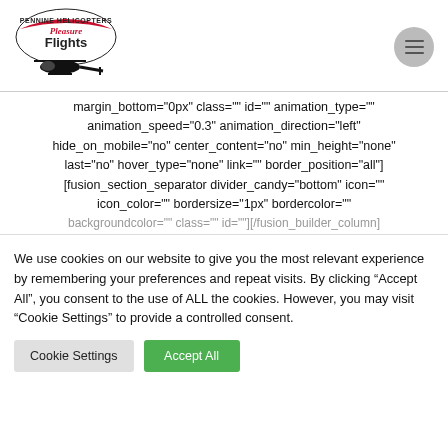[Figure (logo): Pennine Helicopters Pleasure Flights logo with helicopter silhouette]
margin_bottom="0px" class="" id="" animation_type="" animation_speed="0.3" animation_direction="left" hide_on_mobile="no" center_content="no" min_height="none" last="no" hover_type="none" link="" border_position="all"] [fusion_section_separator divider_candy="bottom" icon="" icon_color="" bordersize="1px" bordercolor="" backgroundcolor="" class="" id=""][/fusion_builder_column]
We use cookies on our website to give you the most relevant experience by remembering your preferences and repeat visits. By clicking “Accept All”, you consent to the use of ALL the cookies. However, you may visit “Cookie Settings” to provide a controlled consent.
Cookie Settings | Accept All